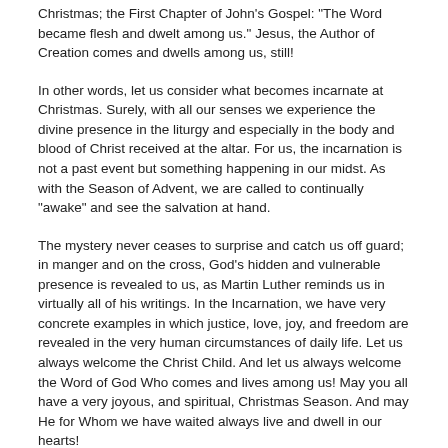Christmas; the First Chapter of John's Gospel: “The Word became flesh and dwelt among us.” Jesus, the Author of Creation comes and dwells among us, still!
In other words, let us consider what becomes incarnate at Christmas. Surely, with all our senses we experience the divine presence in the liturgy and especially in the body and blood of Christ received at the altar. For us, the incarnation is not a past event but something happening in our midst. As with the Season of Advent, we are called to continually “awake” and see the salvation at hand.
The mystery never ceases to surprise and catch us off guard; in manger and on the cross, God’s hidden and vulnerable presence is revealed to us, as Martin Luther reminds us in virtually all of his writings. In the Incarnation, we have very concrete examples in which justice, love, joy, and freedom are revealed in the very human circumstances of daily life. Let us always welcome the Christ Child. And let us always welcome the Word of God Who comes and lives among us! May you all have a very joyous, and spiritual, Christmas Season. And may He for Whom we have waited always live and dwell in our hearts!
In Christ,
Pastor Rose